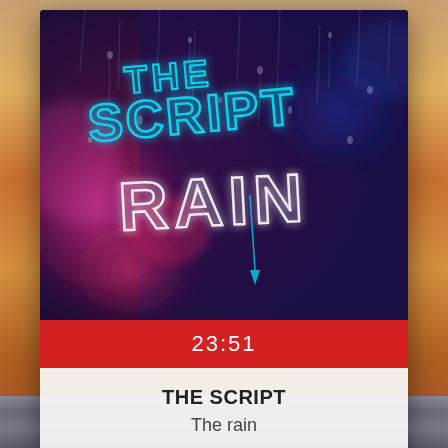[Figure (illustration): Music player app screenshot showing album art for 'The Script - Rain' single. Album cover shows neon blue text 'THE SCRIPT RAIN' on a dark rainy window background with purple and red bokeh lights. Below the cover is a red time bar showing 23:51, followed by white info panel with artist and song name.]
23:51
THE SCRIPT
The rain